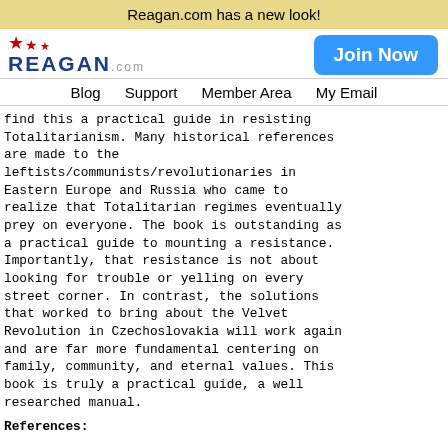Reagan.com has a new look!
[Figure (logo): Reagan.com logo with red stars and blue text, plus a blue 'Join Now' button]
Blog  Support  Member Area  My Email
find this a practical guide in resisting Totalitarianism. Many historical references are made to the leftists/communists/revolutionaries in Eastern Europe and Russia who came to realize that Totalitarian regimes eventually prey on everyone. The book is outstanding as a practical guide to mounting a resistance. Importantly, that resistance is not about looking for trouble or yelling on every street corner. In contrast, the solutions that worked to bring about the Velvet Revolution in Czechoslovakia will work again and are far more fundamental centering on family, community, and eternal values. This book is truly a practical guide, a well researched manual.
References: